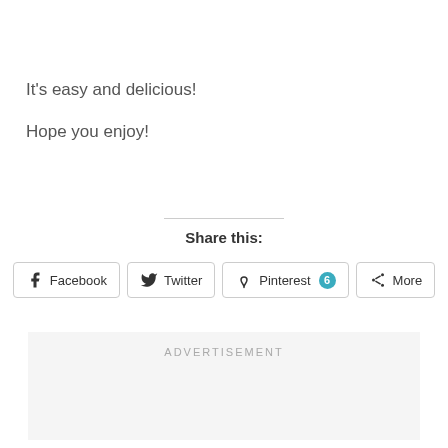It's easy and delicious!
Hope you enjoy!
Share this:
[Figure (other): Social sharing buttons: Facebook, Twitter, Pinterest (badge: 6), More]
ADVERTISEMENT